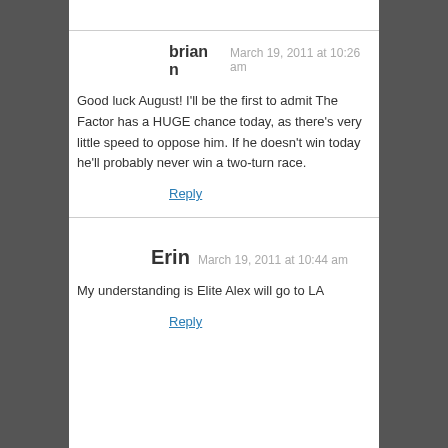brian n  March 19, 2011 at 10:26 am
Good luck August! I'll be the first to admit The Factor has a HUGE chance today, as there's very little speed to oppose him. If he doesn't win today he'll probably never win a two-turn race.
Reply
Erin  March 19, 2011 at 10:44 am
My understanding is Elite Alex will go to LA
Reply